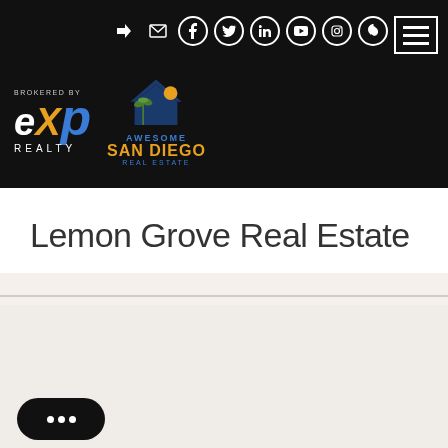[Figure (logo): eXp Realty logo and Awesome San Diego Real Estate logo on black header background with social media icons and hamburger menu]
Lemon Grove Real Estate
[Figure (photo): Outdoor residential property photo showing trees against blue sky with a 'MOST POPULAR' badge overlay and chat button]